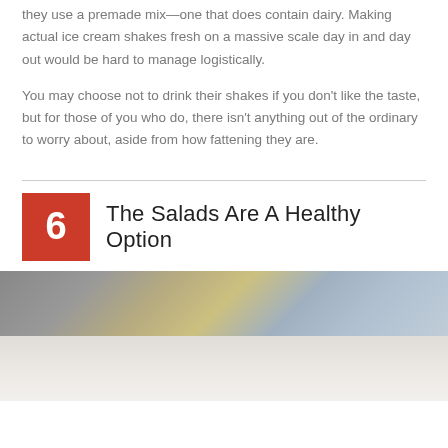they use a premade mix—one that does contain dairy. Making actual ice cream shakes fresh on a massive scale day in and day out would be hard to manage logistically.
You may choose not to drink their shakes if you don't like the taste, but for those of you who do, there isn't anything out of the ordinary to worry about, aside from how fattening they are.
6 The Salads Are A Healthy Option
[Figure (photo): Photo of a salad or food item, shown in two horizontal strips — upper portion showing food in a dark bowl with lighter accents, lower portion showing a light-colored surface or plate.]